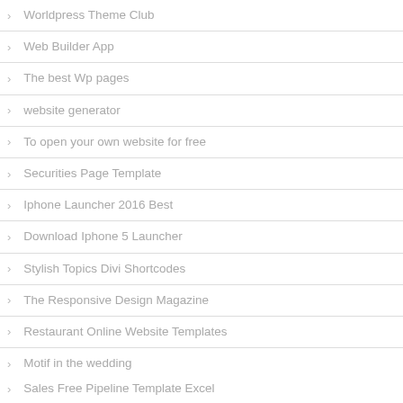Worldpress Theme Club
Web Builder App
The best Wp pages
website generator
To open your own website for free
Securities Page Template
Iphone Launcher 2016 Best
Download Iphone 5 Launcher
Stylish Topics Divi Shortcodes
The Responsive Design Magazine
Restaurant Online Website Templates
Motif in the wedding
Sales Free Pipeline Template Excel
Basis sales plan template
Top Blog Layouts 2016
Web Builder Program